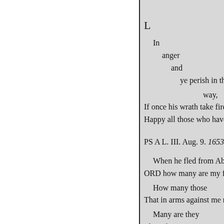L
In
    anger
        and
            ye perish in the
                        way,
If once his wrath take fire
Happy all those who have i
PS A L. III. Aug. 9. 1653.
When he fled from Absal
ORD how many are my foe
How many those
That in arms against me rise
Many are they
That of
    my life distrustfully thu